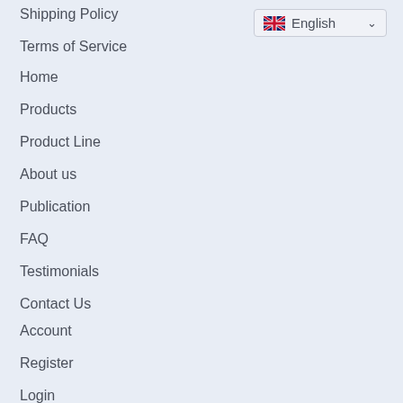Shipping Policy
Terms of Service
[Figure (other): Language selector dropdown showing UK flag and 'English' with chevron]
Home
Products
Product Line
About us
Publication
FAQ
Testimonials
Contact Us
Account
Register
Login